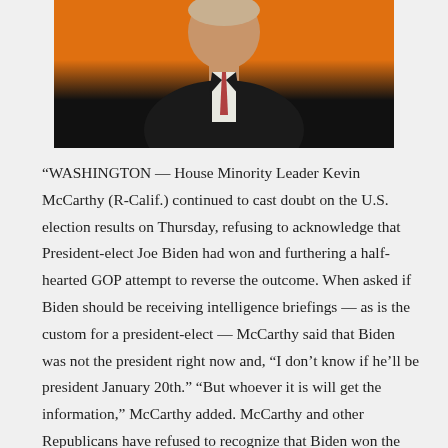[Figure (photo): Portrait photo of a man in a dark suit and red tie against an orange background, cropped to show head and shoulders, with dark background at bottom.]
“WASHINGTON — House Minority Leader Kevin McCarthy (R-Calif.) continued to cast doubt on the U.S. election results on Thursday, refusing to acknowledge that President-elect Joe Biden had won and furthering a half-hearted GOP attempt to reverse the outcome. When asked if Biden should be receiving intelligence briefings — as is the custom for a president-elect — McCarthy said that Biden was not the president right now and, “I don’t know if he’ll be president January 20th.” “But whoever it is will get the information,” McCarthy added. McCarthy and other Republicans have refused to recognize that Biden won the Nov. 3 🗳️, in service of stroking President Donald Trump’s ego and furthering his inane conspiracy theories. McCarthy has repeatedly shown a willingness to undermine the U.S. electoral system. 🗳️🗳️🗳️🗳️, the highest ranking Republican in the House said